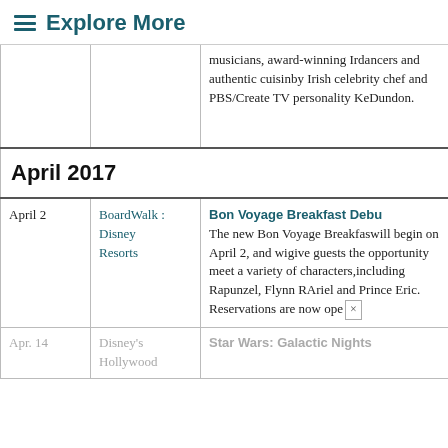≡ Explore More
| Date | Venue | Event |
| --- | --- | --- |
|  |  | musicians, award-winning Irish dancers and authentic cuisine by Irish celebrity chef and PBS/Create TV personality Ke… Dundon. |
| April 2017 |  |  |
| April 2 | BoardWalk : Disney Resorts | Bon Voyage Breakfast Debut — The new Bon Voyage Breakfast will begin on April 2, and will give guests the opportunity to meet a variety of characters, including Rapunzel, Flynn R… Ariel and Prince Eric. Reservations are now ope… |
| Apr. 14 | Disney's Hollywood | Star Wars: Galactic Nights |